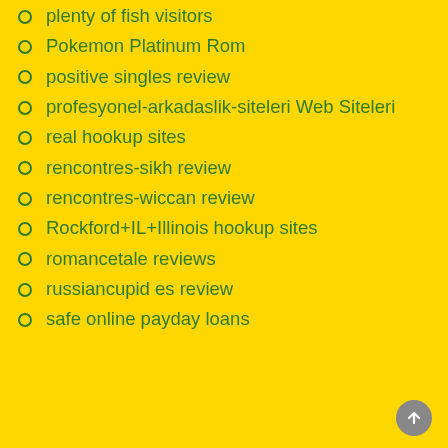plenty of fish visitors
Pokemon Platinum Rom
positive singles review
profesyonel-arkadaslik-siteleri Web Siteleri
real hookup sites
rencontres-sikh review
rencontres-wiccan review
Rockford+IL+Illinois hookup sites
romancetale reviews
russiancupid es review
safe online payday loans